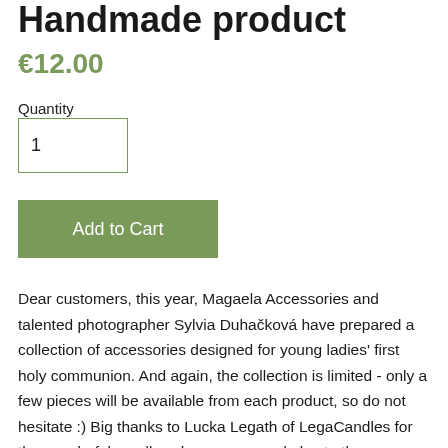Handmade product
€12.00
Quantity
1
Add to Cart
Dear customers, this year, Magaela Accessories and talented photographer Sylvia Duhačková have prepared a collection of accessories designed for young ladies' first holy communion. And again, the collection is limited - only a few pieces will be available from each product, so do not hesitate :) Big thanks to Lucka Legath of LegaCandles for the wonderful candles she gave us and also to the